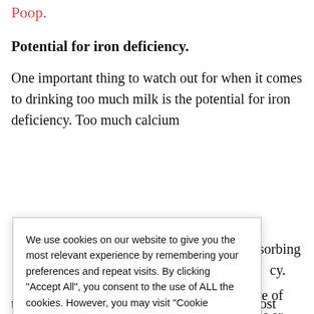Poop.
Potential for iron deficiency.
One important thing to watch out for when it comes to drinking too much milk is the potential for iron deficiency. Too much calcium
absorbing cy.
source of ounces or
st for My
es for whelming
to decide on the right one. Availability and cost
We use cookies on our website to give you the most relevant experience by remembering your preferences and repeat visits. By clicking “Accept All”, you consent to the use of ALL the cookies. However, you may visit "Cookie Settings" to provide a controlled consent.